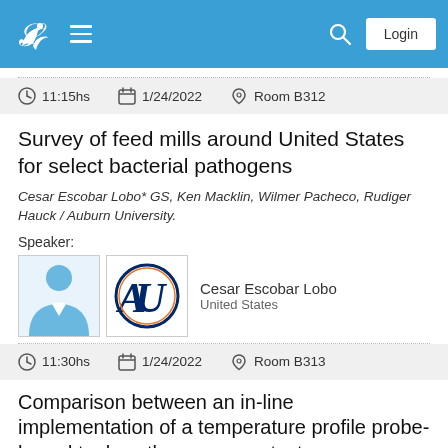Navigation header with logo, menu, search, and Login button
11:15hs   1/24/2022   Room B312
Survey of feed mills around United States for select bacterial pathogens
Cesar Escobar Lobo* GS, Ken Macklin, Wilmer Pacheco, Rudiger Hauck / Auburn University.
Speaker:
[Figure (photo): Speaker photo placeholder (blue silhouette) and Auburn University logo]
Cesar Escobar Lobo
United States
11:30hs   1/24/2022   Room B313
Comparison between an in-line implementation of a temperature profile probe-based tool vs. three non-contact methodologies to monitor hot pellet temperature in broiler diets